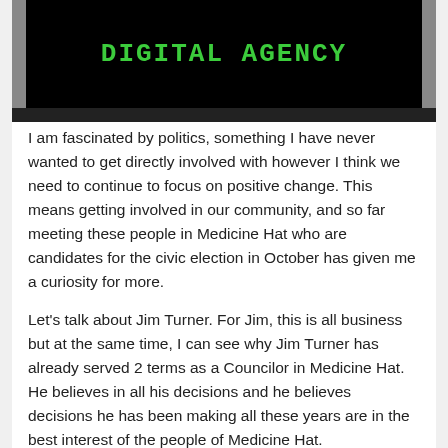[Figure (screenshot): Black banner with green bold text reading 'DIGITAL AGENCY' in a monospace/pixelated font style]
I am fascinated by politics, something I have never wanted to get directly involved with however I think we need to continue to focus on positive change. This means getting involved in our community, and so far meeting these people in Medicine Hat who are candidates for the civic election in October has given me a curiosity for more.
Let's talk about Jim Turner. For Jim, this is all business but at the same time, I can see why Jim Turner has already served 2 terms as a Councilor in Medicine Hat. He believes in all his decisions and he believes decisions he has been making all these years are in the best interest of the people of Medicine Hat.
Jim doesn't claim to know everything and he also